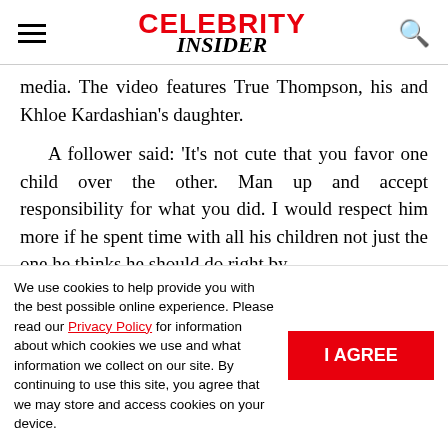CELEBRITY INSIDER
media. The video features True Thompson, his and Khloe Kardashian's daughter.
A follower said: 'It's not cute that you favor one child over the other. Man up and accept responsibility for what you did. I would respect him more if he spent time with all his children not just the one he thinks he should do right by
We use cookies to help provide you with the best possible online experience. Please read our Privacy Policy for information about which cookies we use and what information we collect on our site. By continuing to use this site, you agree that we may store and access cookies on your device.